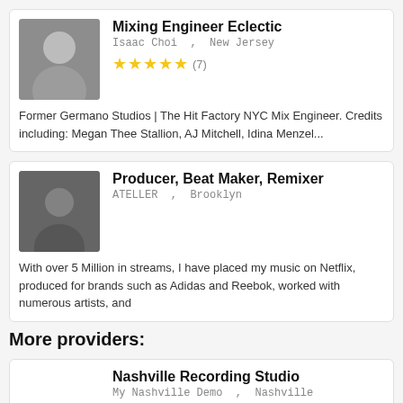Mixing Engineer Eclectic
Isaac Choi , New Jersey
★★★★★ (7)
Former Germano Studios | The Hit Factory NYC Mix Engineer. Credits including: Megan Thee Stallion, AJ Mitchell, Idina Menzel...
Producer, Beat Maker, Remixer
ATELLER , Brooklyn
With over 5 Million in streams, I have placed my music on Netflix, produced for brands such as Adidas and Reebok, worked with numerous artists, and
More providers:
Nashville Recording Studio
My Nashville Demo , Nashville